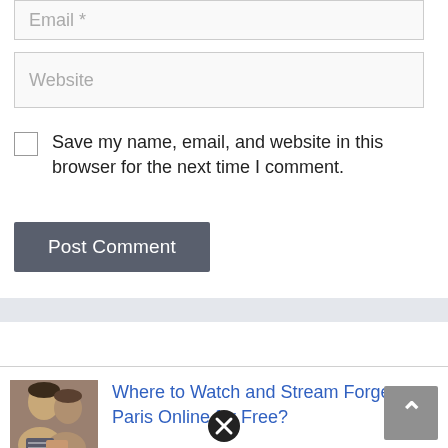Email *
Website
Save my name, email, and website in this browser for the next time I comment.
Post Comment
Where to Watch and Stream Forget Paris Online for Free?